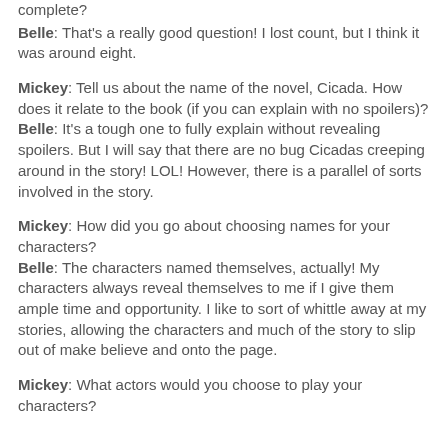complete?
Belle: That's a really good question! I lost count, but I think it was around eight.
Mickey: Tell us about the name of the novel, Cicada. How does it relate to the book (if you can explain with no spoilers)?
Belle: It's a tough one to fully explain without revealing spoilers. But I will say that there are no bug Cicadas creeping around in the story! LOL! However, there is a parallel of sorts involved in the story.
Mickey: How did you go about choosing names for your characters?
Belle: The characters named themselves, actually! My characters always reveal themselves to me if I give them ample time and opportunity. I like to sort of whittle away at my stories, allowing the characters and much of the story to slip out of make believe and onto the page.
Mickey: What actors would you choose to play your characters?